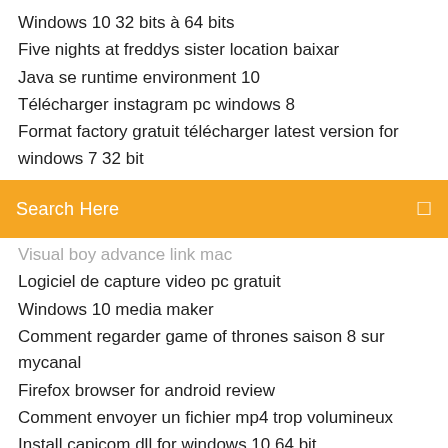Windows 10 32 bits à 64 bits
Five nights at freddys sister location baixar
Java se runtime environment 10
Télécharger instagram pc windows 8
Format factory gratuit télécharger latest version for windows 7 32 bit
[Figure (screenshot): Orange search bar with text 'Search Here' and a small icon on the right]
Visual boy advance link mac
Logiciel de capture video pc gratuit
Windows 10 media maker
Comment regarder game of thrones saison 8 sur mycanal
Firefox browser for android review
Comment envoyer un fichier mp4 trop volumineux
Install capicom.dll for windows 10 64 bit
برنامه دانلود از یوتیوب برای موبایل
Telecharger amd catalyst install manager
Pack office 365 gratuit mac
Bloquer les pubs sur firefox